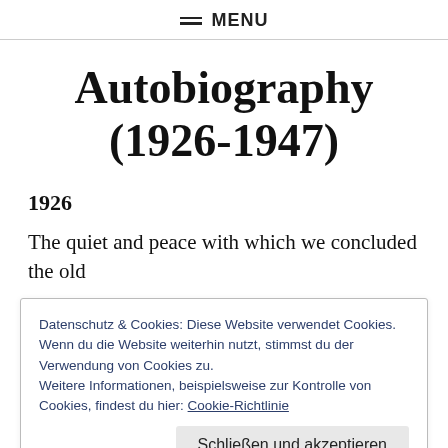≡ MENU
Autobiography (1926-1947)
1926
The quiet and peace with which we concluded the old
Dataschutz & Cookies: Diese Website verwendet Cookies. Wenn du die Website weiterhin nutzt, stimmst du der Verwendung von Cookies zu. Weitere Informationen, beispielsweise zur Kontrolle von Cookies, findest du hier: Cookie-Richtlinie
became more stringent. Minimum wages and limited